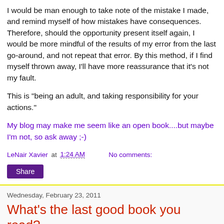I would be man enough to take note of the mistake I made, and remind myself of how mistakes have consequences. Therefore, should the opportunity present itself again, I would be more mindful of the results of my error from the last go-around, and not repeat that error. By this method, if I find myself thrown away, I'll have more reassurance that it's not my fault.
This is "being an adult, and taking responsibility for your actions."
My blog may make me seem like an open book....but maybe I'm not, so ask away ;-)
LeNair Xavier at 1:24 AM   No comments:
Share
Wednesday, February 23, 2011
What's the last good book you read?